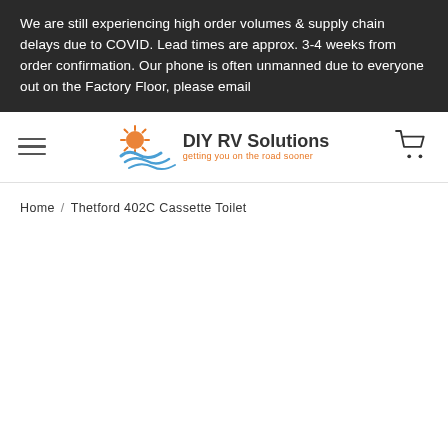We are still experiencing high order volumes & supply chain delays due to COVID. Lead times are approx. 3-4 weeks from order confirmation. Our phone is often unmanned due to everyone out on the Factory Floor, please email
[Figure (logo): DIY RV Solutions logo with orange sun/wave graphic and tagline 'getting you on the road sooner']
Home / Thetford 402C Cassette Toilet